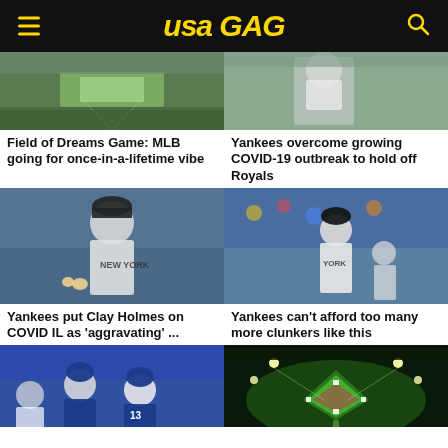USA GAG
[Figure (photo): Baseball field / Field of Dreams game aerial or field photo]
Field of Dreams Game: MLB going for once-in-a-lifetime vibe
[Figure (photo): Baseball player batting or running, Yankees game]
Yankees overcome growing COVID-19 outbreak to hold off Royals
[Figure (photo): New York Yankees pitcher Clay Holmes on mound]
Yankees put Clay Holmes on COVID IL as 'aggravating' ...
[Figure (photo): Yankees manager or coach on field]
Yankees can't afford too many more clunkers like this
[Figure (photo): Baseball players celebrating on field, blue uniforms]
[Figure (photo): Aerial nighttime view of Field of Dreams baseball diamond]